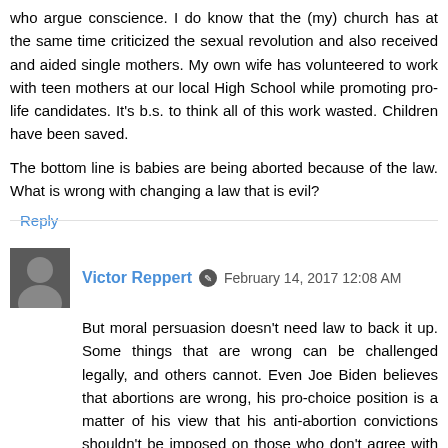who argue conscience. I do know that the (my) church has at the same time criticized the sexual revolution and also received and aided single mothers. My own wife has volunteered to work with teen mothers at our local High School while promoting pro-life candidates. It's b.s. to think all of this work wasted. Children have been saved.
The bottom line is babies are being aborted because of the law. What is wrong with changing a law that is evil?
Reply
Victor Reppert  February 14, 2017 12:08 AM
But moral persuasion doesn't need law to back it up. Some things that are wrong can be challenged legally, and others cannot. Even Joe Biden believes that abortions are wrong, his pro-choice position is a matter of his view that his anti-abortion convictions shouldn't be imposed on those who don't agree with the Catholic view of personhood.
The legal efforts have not worked. Our society has a big problem when it presupposes that so long as something is